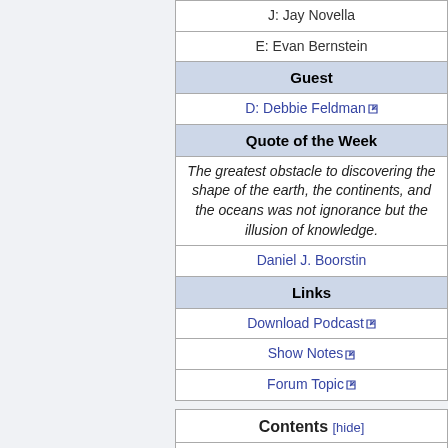| J: Jay Novella |
| E: Evan Bernstein |
| Guest |
| D: Debbie Feldman 🔗 |
| Quote of the Week |
| The greatest obstacle to discovering the shape of the earth, the continents, and the oceans was not ignorance but the illusion of knowledge. |
| Daniel J. Boorstin |
| Links |
| Download Podcast 🔗 |
| Show Notes 🔗 |
| Forum Topic 🔗 |
| Contents [hide] |
| --- |
| 1 | Introduction |
| 2 | This Day in Skepticism (1:22) |
| 3 | News Items |
| 3.1 | Medical Zombies (4:52) |